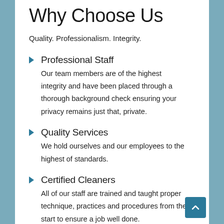Why Choose Us
Quality. Professionalism. Integrity.
Professional Staff — Our team members are of the highest integrity and have been placed through a thorough background check ensuring your privacy remains just that, private.
Quality Services — We hold ourselves and our employees to the highest of standards.
Certified Cleaners — All of our staff are trained and taught proper technique, practices and procedures from the start to ensure a job well done.